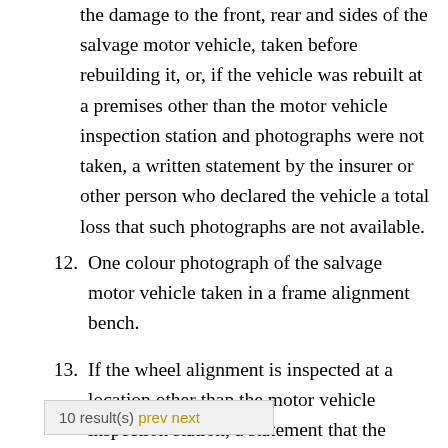the damage to the front, rear and sides of the salvage motor vehicle, taken before rebuilding it, or, if the vehicle was rebuilt at a premises other than the motor vehicle inspection station and photographs were not taken, a written statement by the insurer or other person who declared the vehicle a total loss that such photographs are not available.
12.  One colour photograph of the salvage motor vehicle taken in a frame alignment bench.
13.  If the wheel alignment is inspected at a location other than the motor vehicle inspection station, a statement that the
10 result(s) prev next